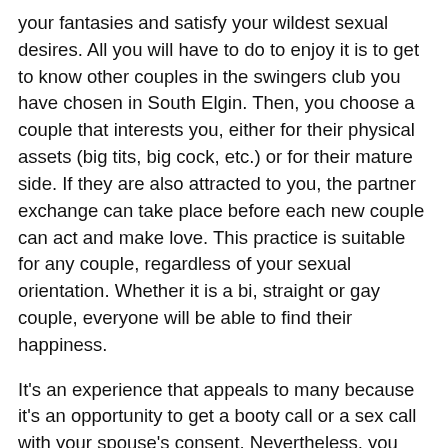your fantasies and satisfy your wildest sexual desires. All you will have to do to enjoy it is to get to know other couples in the swingers club you have chosen in South Elgin. Then, you choose a couple that interests you, either for their physical assets (big tits, big cock, etc.) or for their mature side. If they are also attracted to you, the partner exchange can take place before each new couple can act and make love. This practice is suitable for any couple, regardless of your sexual orientation. Whether it is a bi, straight or gay couple, everyone will be able to find their happiness.
It's an experience that appeals to many because it's an opportunity to get a booty call or a sex call with your spouse's consent. Nevertheless, you have to be careful not to confuse this part of fucking in South Elgin, IL with more intimate feelings, because to experience swinging in a couple you have to be able to see sex and love as two completely separate things. If you don't feel able to do this, then you should avoid having sex with the first couple that comes along, at the risk of harming your relationship. If, on the other hand, you are totally comfortable with the concept, you can meet the couple you choose outside the